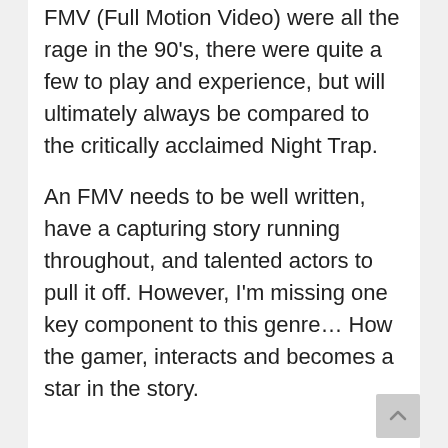FMV (Full Motion Video) were all the rage in the 90's, there were quite a few to play and experience, but will ultimately always be compared to the critically acclaimed Night Trap.
An FMV needs to be well written, have a capturing story running throughout, and talented actors to pull it off. However, I'm missing one key component to this genre… How the gamer, interacts and becomes a star in the story.
The Shapeshifting Detective is an FMV like no other, combining the supernatural, noir and murder mystery genre's all into one. The Shapeshifting Detective is brought to you by